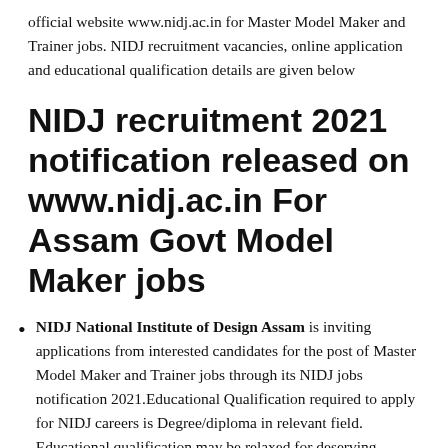official website www.nidj.ac.in for Master Model Maker and Trainer jobs. NIDJ recruitment vacancies, online application and educational qualification details are given below
NIDJ recruitment 2021 notification released on www.nidj.ac.in For Assam Govt Model Maker jobs
NIDJ National Institute of Design Assam is inviting applications from interested candidates for the post of Master Model Maker and Trainer jobs through its NIDJ jobs notification 2021.Educational Qualification required to apply for NIDJ careers is Degree/diploma in relevant field. Educational qualification may be relaxed for deserving candidate Age of the candidate should be Upper age limit 50 years in order to apply for latest Assam govt jobs in NIDJ.